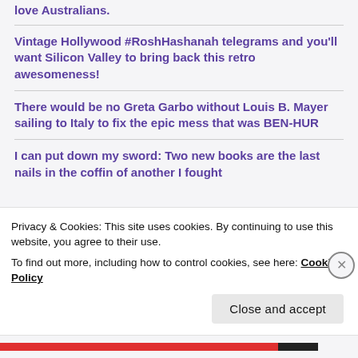love Australians.
Vintage Hollywood #RoshHashanah telegrams and you'll want Silicon Valley to bring back this retro awesomeness!
There would be no Greta Garbo without Louis B. Mayer sailing to Italy to fix the epic mess that was BEN-HUR
I can put down my sword: Two new books are the last nails in the coffin of another I fought
Privacy & Cookies: This site uses cookies. By continuing to use this website, you agree to their use.
To find out more, including how to control cookies, see here: Cookie Policy
Close and accept